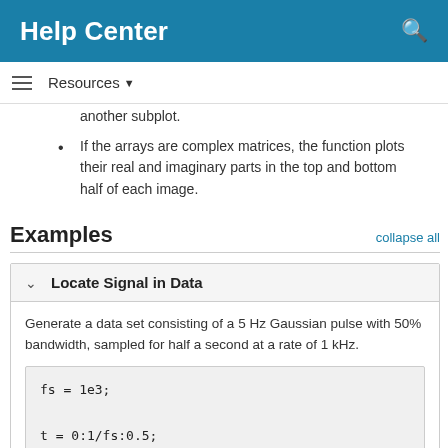Help Center
another subplot.
If the arrays are complex matrices, the function plots their real and imaginary parts in the top and bottom half of each image.
Examples
collapse all
Locate Signal in Data
Generate a data set consisting of a 5 Hz Gaussian pulse with 50% bandwidth, sampled for half a second at a rate of 1 kHz.
fs = 1e3;

t = 0:1/fs:0.5;
data = gauspuls(t,5,0.5);